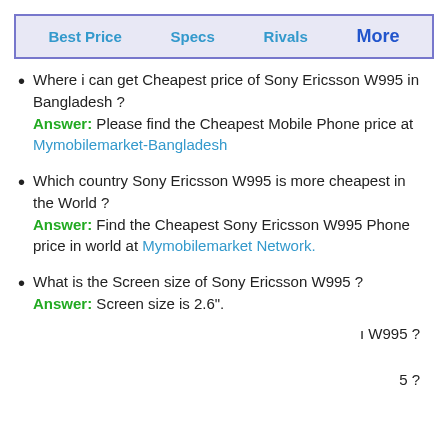Best Price | Specs | Rivals | More
Where i can get Cheapest price of Sony Ericsson W995 in Bangladesh ? Answer: Please find the Cheapest Mobile Phone price at Mymobilemarket-Bangladesh
Which country Sony Ericsson W995 is more cheapest in the World ? Answer: Find the Cheapest Sony Ericsson W995 Phone price in world at Mymobilemarket Network.
What is the Screen size of Sony Ericsson W995 ? Answer: Screen size is 2.6".
ו W995 ?
5 ?